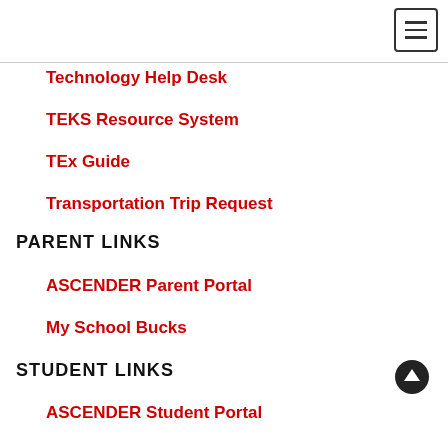Technology Help Desk
TEKS Resource System
TEx Guide
Transportation Trip Request
PARENT LINKS
ASCENDER Parent Portal
My School Bucks
STUDENT LINKS
ASCENDER Student Portal
Library & Media